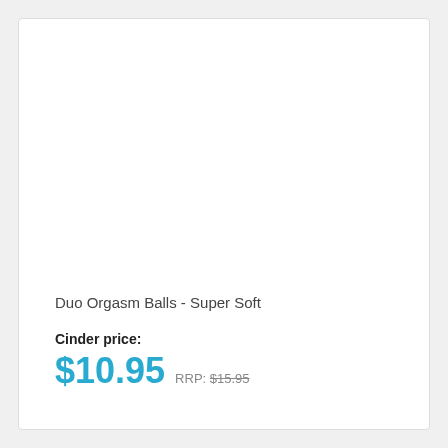Duo Orgasm Balls - Super Soft
Cinder price:
$10.95  RRP: $15.95